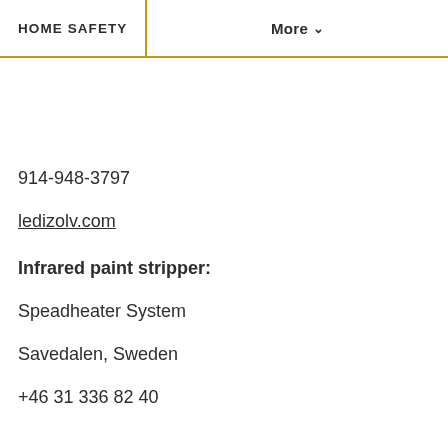HOME SAFETY | More
914-948-3797
ledizolv.com
Infrared paint stripper:
Speadheater System
Savedalen, Sweden
+46 31 336 82 40